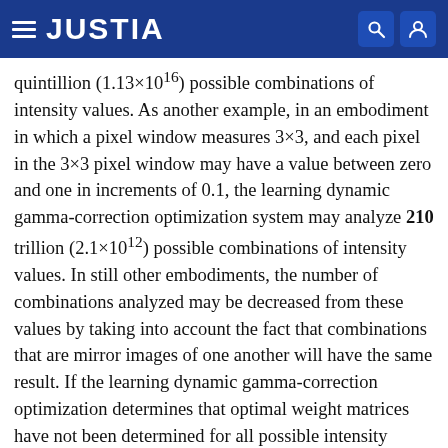JUSTIA
quintillion (1.13×10¹⁶) possible combinations of intensity values. As another example, in an embodiment in which a pixel window measures 3×3, and each pixel in the 3×3 pixel window may have a value between zero and one in increments of 0.1, the learning dynamic gamma-correction optimization system may analyze 210 trillion (2.1×10¹²) possible combinations of intensity values. In still other embodiments, the number of combinations analyzed may be decreased from these values by taking into account the fact that combinations that are mirror images of one another will have the same result. If the learning dynamic gamma-correction optimization determines that optimal weight matrices have not been determined for all possible intensity combinations, the method may proceed to block 818. If the learning dynamic gamma-correction optimization determines